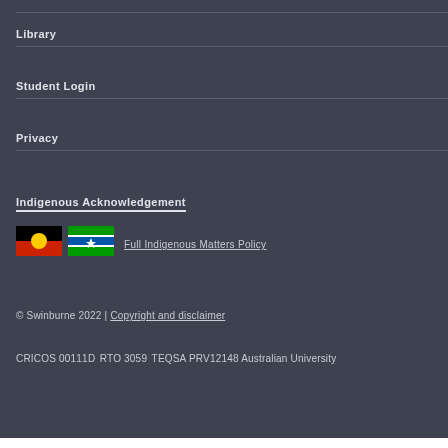Library
Student Login
Privacy
Indigenous Acknowledgement
[Figure (illustration): Aboriginal flag: black top half, red bottom half, yellow circle in centre]
[Figure (illustration): Torres Strait Islander flag: green and blue halves with white lines and blue star in centre]
Full Indigenous Matters Policy
© Swinburne 2022 | Copyright and disclaimer
CRICOS 00111D
RTO 3059
TEQSA PRV12148 Australian University